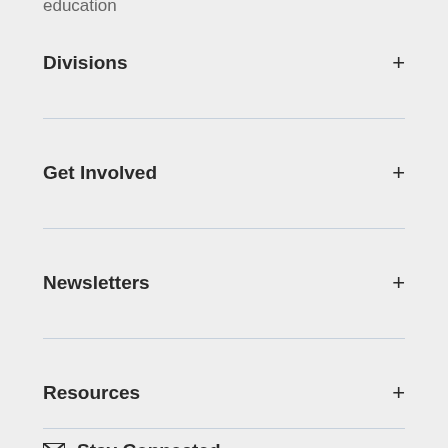education
Divisions +
Get Involved +
Newsletters +
Resources +
Stay Connected